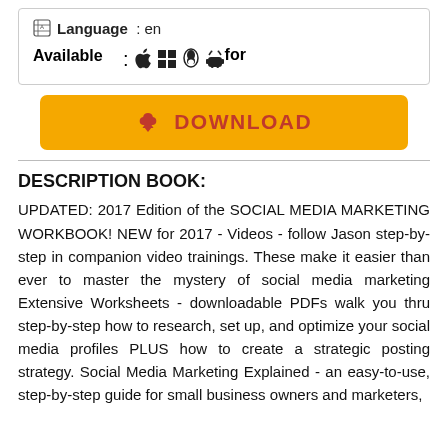Language : en
Available for : (Apple, Windows, Linux, Android icons)
[Figure (other): Yellow download button with cloud/download icon and text DOWNLOAD in red]
DESCRIPTION BOOK:
UPDATED: 2017 Edition of the SOCIAL MEDIA MARKETING WORKBOOK! NEW for 2017 - Videos - follow Jason step-by-step in companion video trainings. These make it easier than ever to master the mystery of social media marketing Extensive Worksheets - downloadable PDFs walk you thru step-by-step how to research, set up, and optimize your social media profiles PLUS how to create a strategic posting strategy. Social Media Marketing Explained - an easy-to-use, step-by-step guide for small business owners and marketers,